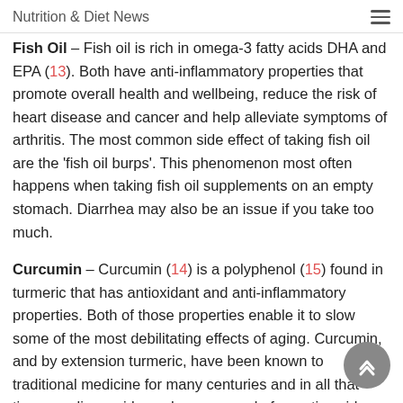Nutrition & Diet News
Fish Oil – Fish oil is rich in omega-3 fatty acids DHA and EPA (13). Both have anti-inflammatory properties that promote overall health and wellbeing, reduce the risk of heart disease and cancer and help alleviate symptoms of arthritis. The most common side effect of taking fish oil are the 'fish oil burps'. This phenomenon most often happens when taking fish oil supplements on an empty stomach. Diarrhea may also be an issue if you take too much.
Curcumin – Curcumin (14) is a polyphenol (15) found in turmeric that has antioxidant and anti-inflammatory properties. Both of those properties enable it to slow some of the most debilitating effects of aging. Curcumin, and by extension turmeric, have been known to traditional medicine for many centuries and in all that time very little evidence has emerged of negative side effects.